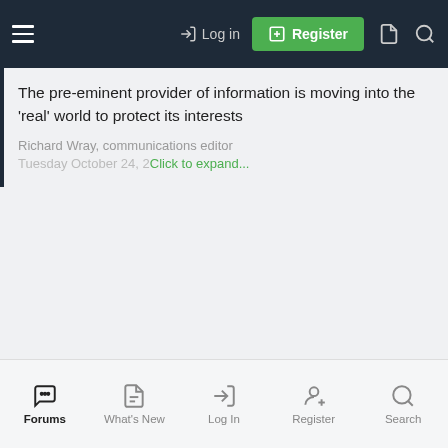Log in | Register
The pre-eminent provider of information is moving into the 'real' world to protect its interests
Richard Wray, communications editor
Tuesday October 24, 2...
Click to expand...
Forums | What's New | Log In | Register | Search